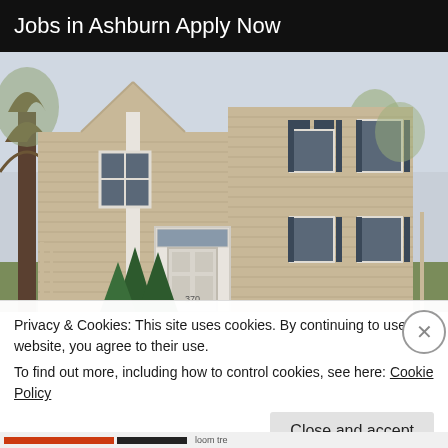Jobs in Ashburn Apply Now
[Figure (photo): Two-story house with beige horizontal siding, white trim, dark shutters, front door with transom window, surrounded by bare trees and evergreen shrubs]
Privacy & Cookies: This site uses cookies. By continuing to use this website, you agree to their use.
To find out more, including how to control cookies, see here: Cookie Policy
Close and accept